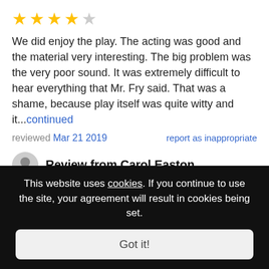[Figure (other): 4 out of 5 stars rating: 4 gold stars and 1 grey star]
We did enjoy the play. The acting was good and the material very interesting. The big problem was the very poor sound. It was extremely difficult to hear everything that Mr. Fry said. That was a shame, because play itself was quite witty and it...continued
reviewed Mar 21 2019
report as inappropriate
Review from Carol Easton
44 events · 13 reviews
[Figure (other): 5 out of 5 stars rating: 5 gold stars]
This website uses cookies. If you continue to use the site, your agreement will result in cookies being set.
Got it!